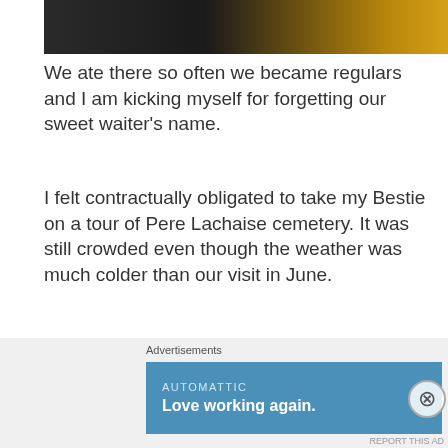[Figure (photo): Partial photo at top of page showing a dark background with a gold/yellow element on the right side]
We ate there so often we became regulars and I am kicking myself for forgetting our sweet waiter's name.
I felt contractually obligated to take my Bestie on a tour of Pere Lachaise cemetery. It was still crowded even though the weather was much colder than our visit in June.
[Figure (photo): Photo of Pere Lachaise cemetery showing stone monuments/mausoleums against a light overcast sky, with bare tree branches in the upper left corner]
Advertisements
[Figure (other): Advertisement banner with blue background reading 'AUTOMATTIC - Love working again.']